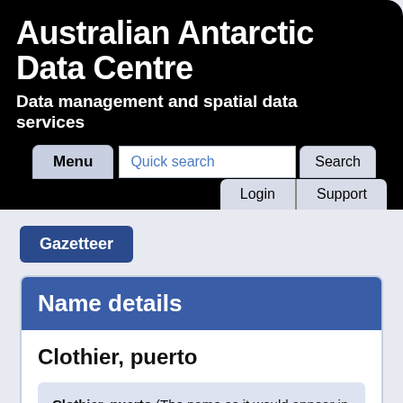Australian Antarctic Data Centre
Data management and spatial data services
Gazetteer
Name details
Clothier, puerto
Clothier, puerto (The name as it would appear in a gazetteer)